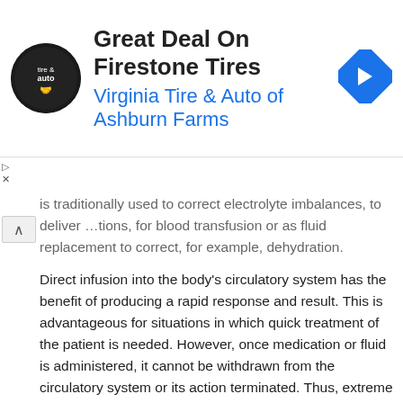[Figure (other): Advertisement banner for Virginia Tire & Auto of Ashburn Farms featuring a circular logo, headline 'Great Deal On Firestone Tires', subtitle 'Virginia Tire & Auto of Ashburn Farms', and a blue diamond-shaped directional arrow icon on the right.]
is traditionally used to correct electrolyte imbalances, to deliver …tions, for blood transfusion or as fluid replacement to correct, for example, dehydration.
Direct infusion into the body's circulatory system has the benefit of producing a rapid response and result. This is advantageous for situations in which quick treatment of the patient is needed. However, once medication or fluid is administered, it cannot be withdrawn from the circulatory system or its action terminated. Thus, extreme caution is necessary for patient safety prior to the administration of medication or other liquid, this includes correct identification of IV lines.
IV lines of the prior art exist in many forms and are generally categorized as central or peripheral lines. Central Lines have lumens which are the portion of the IV line that emerges from the patient's skin The prior art consists of single, double, triple or even quadruple lumens. With a central line, multiple lumens enter one point through the skin (such a configuration appears to be one line but actually consists of individual lines going through a larger tube). Each lumen has its own delivery site or exit site inside the blood vessel.